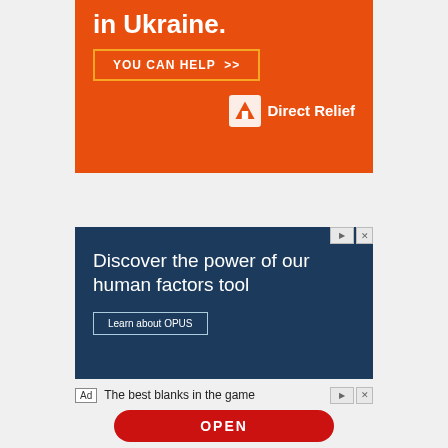[Figure (infographic): Orange Direct Relief advertisement banner with text 'in Ukraine.' and 'YOU CAN HELP >>' button and Direct Relief logo]
[Figure (infographic): Dark blue advertisement banner: 'Discover the power of our human factors tool' with 'Learn about OPUS' button]
The best blanks in the game
[Figure (infographic): Red OPEN button at bottom]